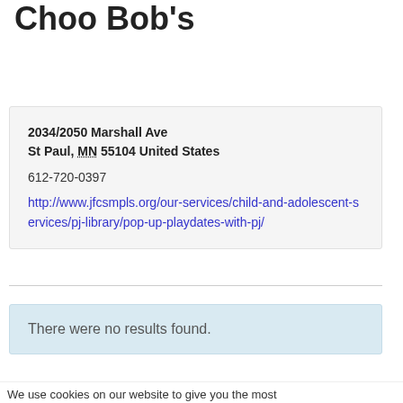Choo Bob's
2034/2050 Marshall Ave
St Paul, MN 55104 United States
612-720-0397
http://www.jfcsmpls.org/our-services/child-and-adolescent-services/pj-library/pop-up-playdates-with-pj/
There were no results found.
We use cookies on our website to give you the most